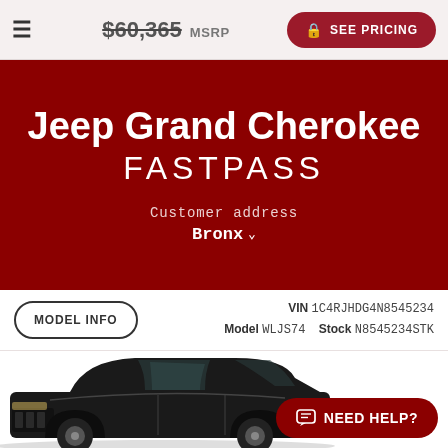$60,365 MSRP  SEE PRICING
Jeep Grand Cherokee
FASTPASS
Customer address
Bronx
MODEL INFO
VIN 1C4RJHDG4N8545234  Model WLJS74  Stock N8545234STK
[Figure (photo): Black Jeep Grand Cherokee SUV viewed from front-left angle]
NEED HELP?